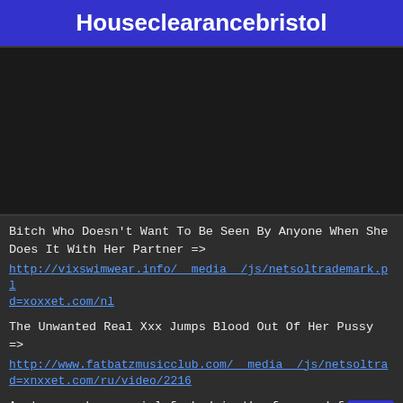Houseclearancebristol
[Figure (other): Dark/black video embed placeholder area]
Bitch Who Doesn't Want To Be Seen By Anyone When She Does It With Her Partner =>
http://vixswimwear.info/__media__/js/netsoltrademark.php?d=xoxxet.com/nl
The Unwanted Real Xxx Jumps Blood Out Of Her Pussy =>
http://www.fatbatzmusicclub.com/__media__/js/netsoltrademark.php?d=xnxxet.com/ru/video/2216
Amateur and sexy girl fucked in the face and fucked